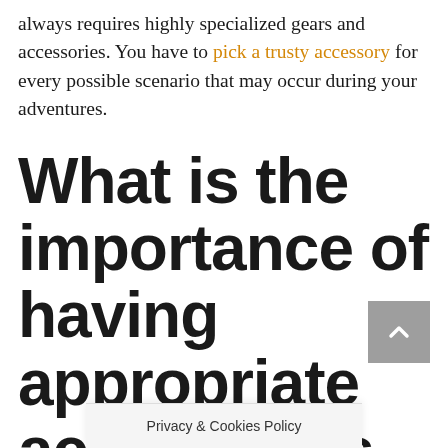always requires highly specialized gears and accessories. You have to pick a trusty accessory for every possible scenario that may occur during your adventures.
What is the importance of having appropriate accessories in ar
Privacy & Cookies Policy